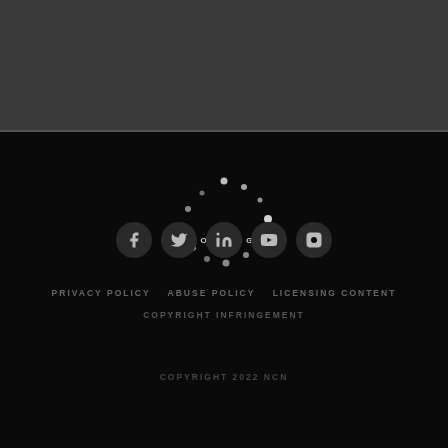[Figure (screenshot): Dark website loading screen with gray top bar, loading spinner, social media icons (Facebook, Twitter, LinkedIn, YouTube, Instagram), navigation links, and copyright notice]
LOADING
PRIVACY POLICY   ABUSE POLICY   LICENSING CONTENT
COPYRIGHT INFRINGEMENT
COPYRIGHT 2022 NCN